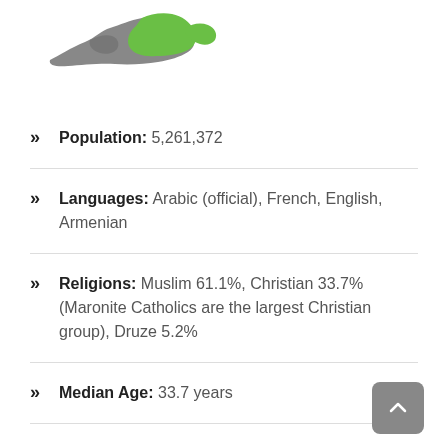[Figure (map): Partial map of Lebanon showing green and grey shaded regions]
Population: 5,261,372
Languages: Arabic (official), French, English, Armenian
Religions: Muslim 61.1%, Christian 33.7% (Maronite Catholics are the largest Christian group), Druze 5.2%
Median Age: 33.7 years